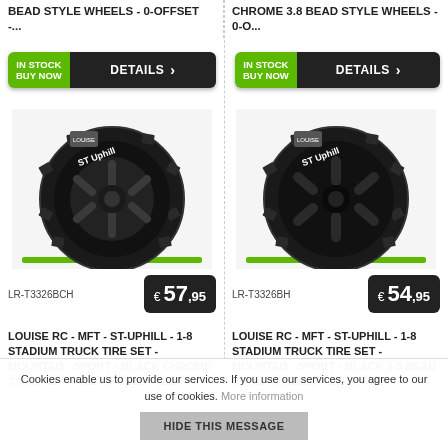BEAD STYLE WHEELS - 0-OFFSET -...
CHROME 3.8 BEAD STYLE WHEELS - 0-O...
IN STOCK BUY NOW DETAILS
IN STOCK BUY NOW DETAILS
[Figure (photo): Louise RC ST-Uphill 1-8 stadium truck tire mounted on black chrome 3.8 bead style wheel]
[Figure (photo): Louise RC ST-Uphill 1-8 stadium truck tire mounted on black 3.8 bead style wheel]
LR-T3326BCH € 57,95
LR-T3326BH € 54,95
LOUISE RC - MFT - ST-UPHILL - 1-8 STADIUM TRUCK TIRE SET - MOUNTED - SPORT - BLACK CHROME 3.8 BEAD STYLE WHEELS - 1/2...
LOUISE RC - MFT - ST-UPHILL - 1-8 STADIUM TRUCK TIRE SET - MOUNTED - SPORT - BLACK 3.8 BEAD STYLE WHEELS - 1/2-OFFSET...
Cookies enable us to provide our services. If you use our services, you agree to our use of cookies. More information
HIDE THIS MESSAGE